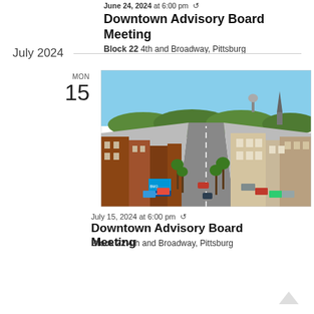June 24, 2024 at 6:00 pm  ↺
Downtown Advisory Board Meeting
Block 22  4th and Broadway, Pittsburg
July 2024
MON
15
[Figure (photo): Aerial view of a downtown main street in Pittsburg with brick buildings on both sides, trees lining the sidewalks, parked cars, a BMO Harris Bank sign visible, and a church steeple and water tower in the background under a blue sky.]
July 15, 2024 at 6:00 pm  ↺
Downtown Advisory Board Meeting
Block 22  4th and Broadway, Pittsburg